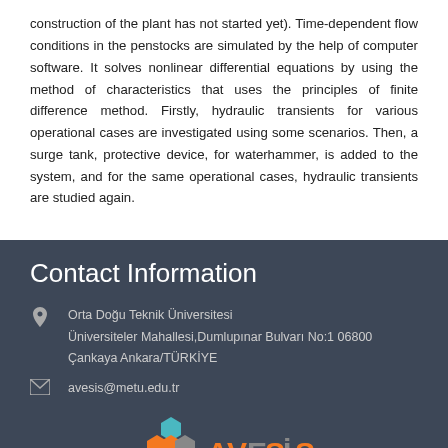construction of the plant has not started yet). Time-dependent flow conditions in the penstocks are simulated by the help of computer software. It solves nonlinear differential equations by using the method of characteristics that uses the principles of finite difference method. Firstly, hydraulic transients for various operational cases are investigated using some scenarios. Then, a surge tank, protective device, for waterhammer, is added to the system, and for the same operational cases, hydraulic transients are studied again.
Contact Information
Orta Doğu Teknik Üniversitesi
Üniversiteler Mahallesi,Dumlupınar Bulvarı No:1 06800
Çankaya Ankara/TÜRKİYE
avesis@metu.edu.tr
[Figure (logo): AVESIS logo with colorful hexagon shapes (teal, orange, gray) and orange/gray text]